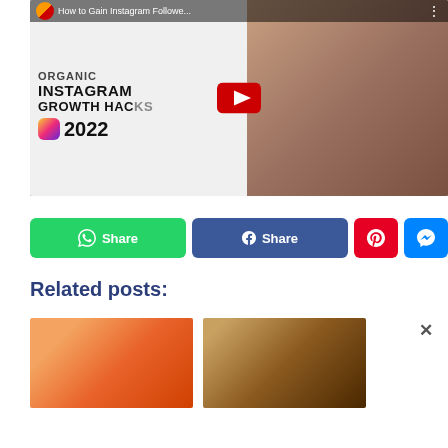[Figure (screenshot): YouTube video thumbnail for 'How to Gain Instagram Followe...' showing text 'ORGANIC INSTAGRAM GROWTH HACKS 2022' with Instagram logo, a woman with long dark hair, and a red YouTube play button overlay. A top bar shows the channel icon and video title.]
[Figure (screenshot): Row of social share buttons: green WhatsApp Share button, blue Facebook Share button, red Pinterest button, and blue Messenger button.]
Related posts:
[Figure (photo): Two partially visible related post thumbnail images side by side. Left image has orange/warm tones. Right image has brown/dark tones. A close (×) button appears to the right.]